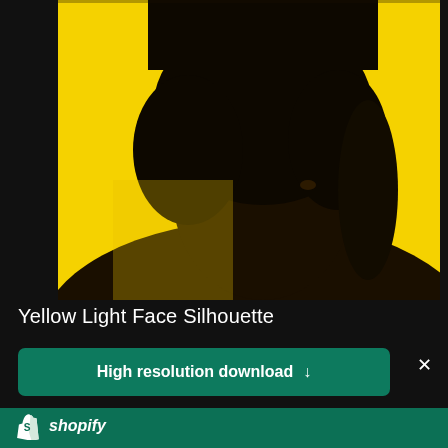[Figure (photo): Dark silhouette of a person's head and shoulders against a bright yellow background, partially cropped, on a dark background]
Yellow Light Face Silhouette
High resolution download ↓
[Figure (logo): Shopify logo — white shopping bag icon with letter S and Shopify wordmark in white on teal/green background]
Need an online store for your business?
Start free trial